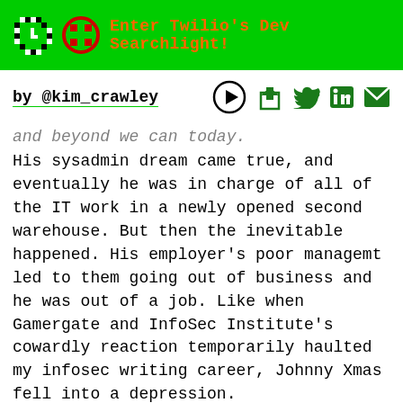Enter Twilio's Dev Searchlight!
by @kim_crawley
and beyond we can today.
His sysadmin dream came true, and eventually he was in charge of all of the IT work in a newly opened second warehouse. But then the inevitable happened. His employer's poor managemt led to them going out of business and he was out of a job. Like when Gamergate and InfoSec Institute's cowardly reaction temporarily haulted my infosec writing career, Johnny Xmas fell into a depression.
He joined a group who played board games once a month in order to motivate himself to leave his house. At some point, one of the group members emailed his roommate, asking him if he knew anyone with infosec